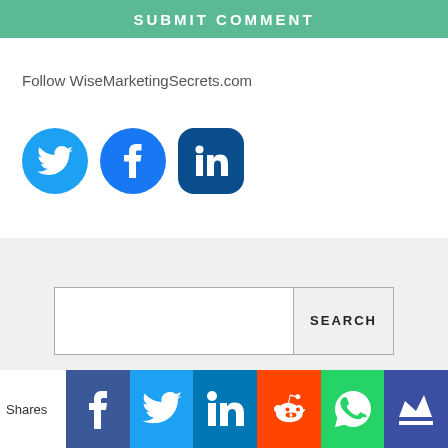SUBMIT COMMENT
Follow WiseMarketingSecrets.com
[Figure (infographic): Three social media icon buttons: Twitter (light blue circle), Facebook (blue circle), LinkedIn (dark blue rounded rectangle)]
[Figure (infographic): Search bar with empty text input and SEARCH button on a light grey background]
[Figure (infographic): Social share bar with label 'Shares' and six colored share buttons: Facebook (dark blue), Twitter (light blue), LinkedIn (blue), Reddit (orange-red), WhatsApp (green), Crown/Mixcloud (dark blue)]